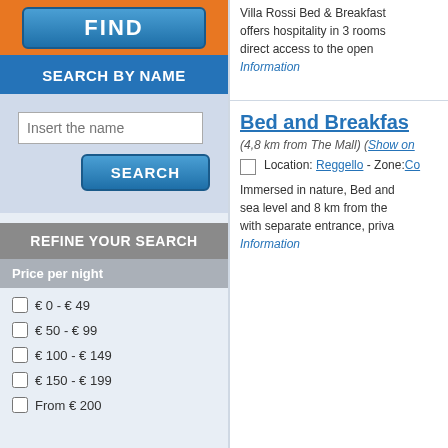[Figure (screenshot): Orange bar with FIND button (blue gradient)]
SEARCH BY NAME
Insert the name
SEARCH
REFINE YOUR SEARCH
Price per night
€ 0 - € 49
€ 50 - € 99
€ 100 - € 149
€ 150 - € 199
From € 200
Villa Rossi Bed & Breakfast offers hospitality in 3 rooms direct access to the open
Information
Bed and Breakfas
(4,8 km from The Mall) (Show on
Location: Reggello - Zone:Co
Immersed in nature, Bed and sea level and 8 km from the with separate entrance, priva
Information